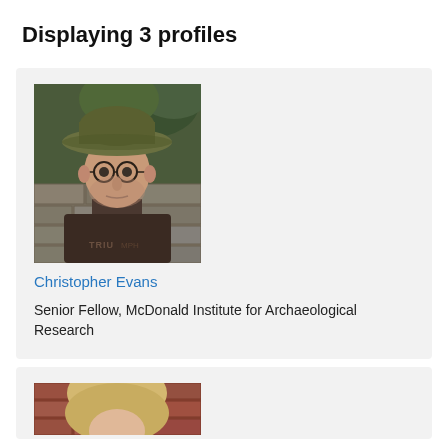Displaying 3 profiles
[Figure (photo): Portrait photo of Christopher Evans wearing a wide-brimmed olive hat and round glasses, dark t-shirt with Triumph logo, outdoor stone wall background]
Christopher Evans
Senior Fellow, McDonald Institute for Archaeological Research
[Figure (photo): Partial photo of a blonde woman in front of a brick wall, only top portion visible]